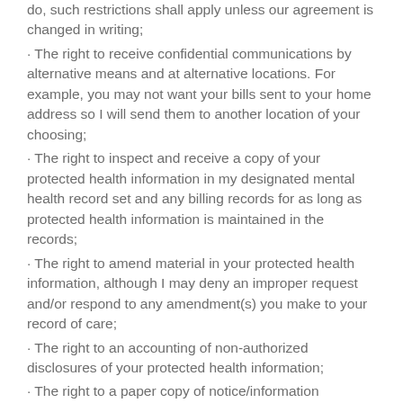do, such restrictions shall apply unless our agreement is changed in writing;
· The right to receive confidential communications by alternative means and at alternative locations. For example, you may not want your bills sent to your home address so I will send them to another location of your choosing;
· The right to inspect and receive a copy of your protected health information in my designated mental health record set and any billing records for as long as protected health information is maintained in the records;
· The right to amend material in your protected health information, although I may deny an improper request and/or respond to any amendment(s) you make to your record of care;
· The right to an accounting of non-authorized disclosures of your protected health information;
· The right to a paper copy of notice/information